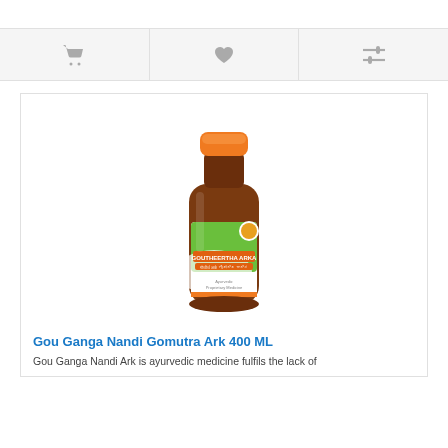[Figure (other): Top navigation bar icons: shopping cart, heart/wishlist, and compare icons on a light gray background]
[Figure (photo): A brown glass bottle of Goutheertha Arka (Gou Ganga Nandi Gomutra Ark) with orange cap and green label, Ayurvedic Proprietary Medicine, 400 ML]
Gou Ganga Nandi Gomutra Ark 400 ML
Gou Ganga Nandi Ark is ayurvedic medicine fulfils the lack of